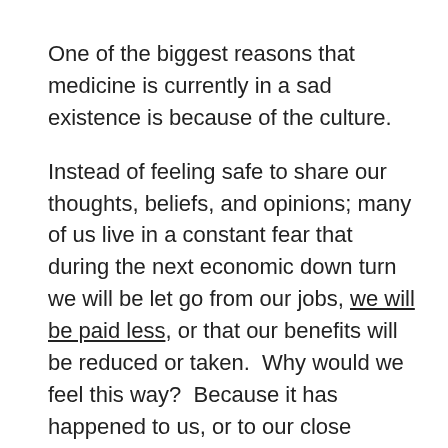One of the biggest reasons that medicine is currently in a sad existence is because of the culture.
Instead of feeling safe to share our thoughts, beliefs, and opinions; many of us live in a constant fear that during the next economic down turn we will be let go from our jobs, we will be paid less, or that our benefits will be reduced or taken.  Why would we feel this way?  Because it has happened to us, or to our close friends.
Unlike well-run organizations, who produce a culture where trust is paramount, many doctors feel like cogs in the wheels of giant